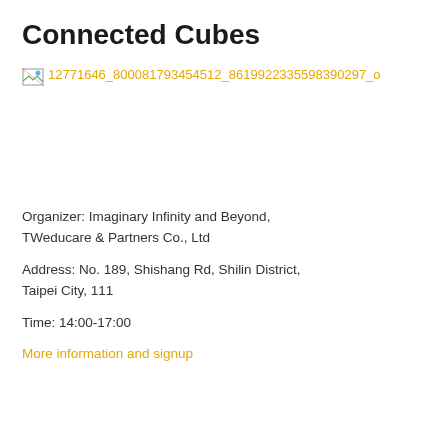Connected Cubes
[Figure (illustration): Broken image placeholder with filename link: 12771646_800081793454512_8619922335598390297_o]
Organizer: Imaginary Infinity and Beyond, TWeducare & Partners Co., Ltd
Address: No. 189, Shishang Rd, Shilin District, Taipei City, 111
Time: 14:00-17:00
More information and signup